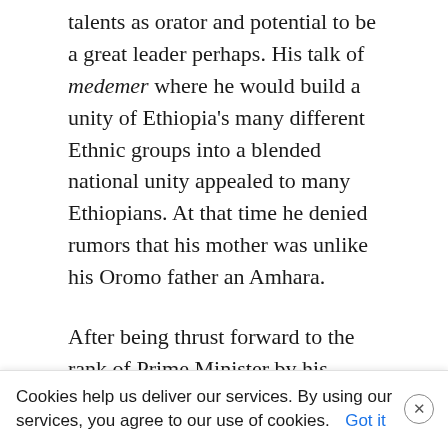talents as orator and potential to be a great leader perhaps. His talk of medemer where he would build a unity of Ethiopia's many different Ethnic groups into a blended national unity appealed to many Ethiopians. At that time he denied rumors that his mother was unlike his Oromo father an Amhara.
After being thrust forward to the rank of Prime Minister by his confidant Lemma Megersa (leader of the Oromos) and Jawar Mohammed (leader of Qeero movement) he seemed destined for greatness, being a part of the most numerous ethnic group making up more than [continues] of the Ethiopian population.
Cookies help us deliver our services. By using our services, you agree to our use of cookies. Got it